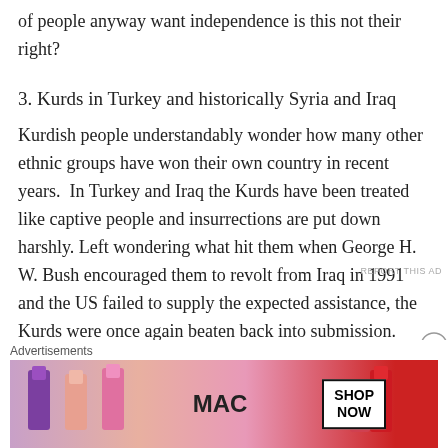of people anyway want independence is this not their right?
3. Kurds in Turkey and historically Syria and Iraq
Kurdish people understandably wonder how many other ethnic groups have won their own country in recent years.  In Turkey and Iraq the Kurds have been treated like captive people and insurrections are put down harshly. Left wondering what hit them when George H. W. Bush encouraged them to revolt from Iraq in 1991 and the US failed to supply the expected assistance, the Kurds were once again beaten back into submission. Apparently pressure from Turkey, a US Nato ally, keeps the US from
Advertisements
[Figure (photo): MAC cosmetics advertisement showing lipsticks in purple, pink, and red shades alongside the MAC logo and a 'SHOP NOW' button box.]